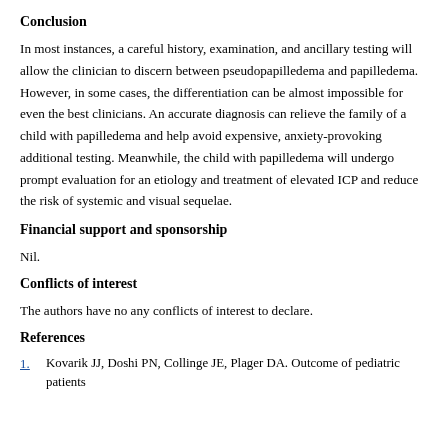Conclusion
In most instances, a careful history, examination, and ancillary testing will allow the clinician to discern between pseudopapilledema and papilledema. However, in some cases, the differentiation can be almost impossible for even the best clinicians. An accurate diagnosis can relieve the family of a child with papilledema and help avoid expensive, anxiety-provoking additional testing. Meanwhile, the child with papilledema will undergo prompt evaluation for an etiology and treatment of elevated ICP and reduce the risk of systemic and visual sequelae.
Financial support and sponsorship
Nil.
Conflicts of interest
The authors have no any conflicts of interest to declare.
References
1. Kovarik JJ, Doshi PN, Collinge JE, Plager DA. Outcome of pediatric patients